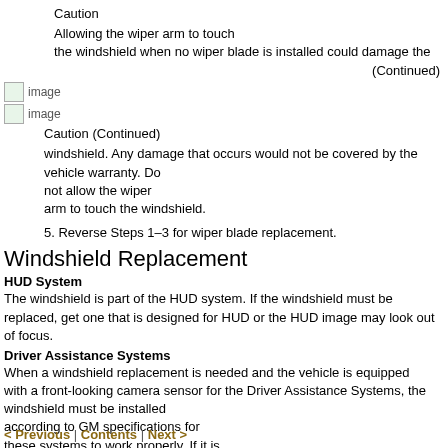Caution
Allowing the wiper arm to touch the windshield when no wiper blade is installed could damage the
(Continued)
[Figure (photo): Two small image icons]
Caution (Continued)
windshield. Any damage that occurs would not be covered by the vehicle warranty. Do not allow the wiper arm to touch the windshield.
5. Reverse Steps 1–3 for wiper blade replacement.
Windshield Replacement
HUD System
The windshield is part of the HUD system. If the windshield must be replaced, get one that is designed for HUD or the HUD image may look out of focus.
Driver Assistance Systems
When a windshield replacement is needed and the vehicle is equipped with a front-looking camera sensor for the Driver Assistance Systems, the windshield must be installed according to GM specifications for these systems to work properly. If it is
< Previous | Contents | Next >